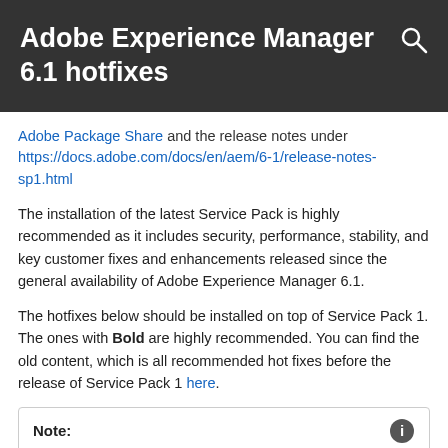Adobe Experience Manager 6.1 hotfixes
Adobe Package Share and the release notes under https://docs.adobe.com/docs/en/aem/6-1/release-notes-sp1.html
The installation of the latest Service Pack is highly recommended as it includes security, performance, stability, and key customer fixes and enhancements released since the general availability of Adobe Experience Manager 6.1.
The hotfixes below should be installed on top of Service Pack 1. The ones with Bold are highly recommended. You can find the old content, which is all recommended hot fixes before the release of Service Pack 1 here.
Note:
AEM hotfixes do not benefit from the same level of quality